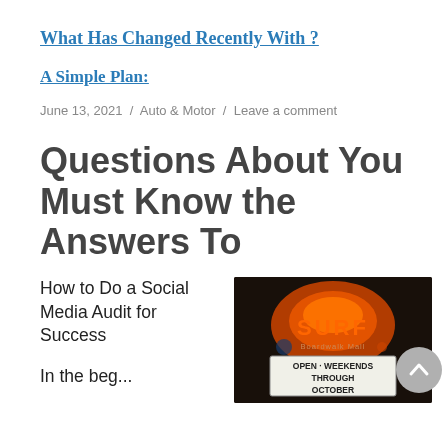What Has Changed Recently With ?
A Simple Plan:
June 13, 2021  /  Auto & Motor  /  Leave a comment
Questions About You Must Know the Answers To
How to Do a Social Media Audit for Success
[Figure (photo): Nighttime photo of a SURF Boardwalk Mall sign with neon lighting, marquee reading OPEN - WEEKENDS THROUGH OCTOBER]
In the beg...